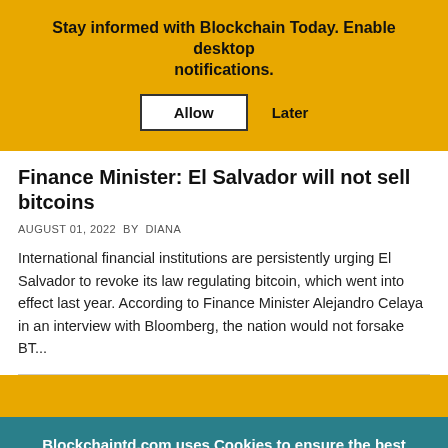Stay informed with Blockchain Today. Enable desktop notifications.
Allow  Later
Finance Minister: El Salvador will not sell bitcoins
AUGUST 01, 2022  BY  DIANA
International financial institutions are persistently urging El Salvador to revoke its law regulating bitcoin, which went into effect last year. According to Finance Minister Alejandro Celaya in an interview with Bloomberg, the nation would not forsake BT...
Blockchaintd.com uses Cookies to ensure the best experience for you.
Accept  ×